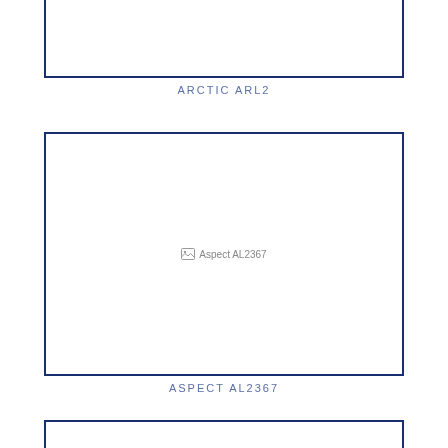[Figure (photo): Product image placeholder for ARCTIC ARL2 (partially visible at top of page)]
ARCTIC ARL2
[Figure (photo): Product image placeholder for ASPECT AL2367, showing broken image icon with alt text 'Aspect AL2367']
ASPECT AL2367
[Figure (photo): Product image placeholder (partially visible at bottom of page)]